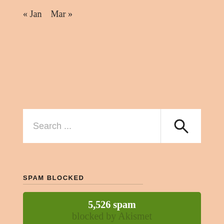« Jan   Mar »
[Figure (screenshot): Search input box with placeholder text 'Search ...' and a magnifying glass icon on the right]
SPAM BLOCKED
5,526 spam blocked by Akismet